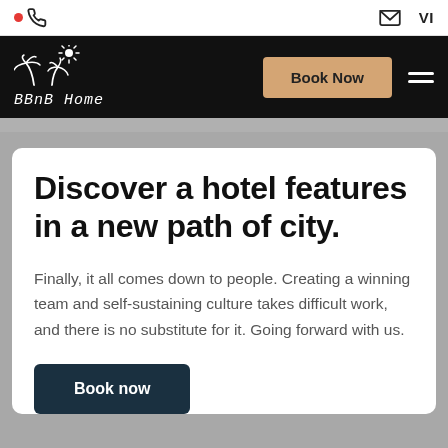• ☎   ✉ VI
[Figure (logo): BBnB Home logo with stylized palm tree and flower illustration in white on black background]
Discover a hotel features in a new path of city.
Finally, it all comes down to people. Creating a winning team and self-sustaining culture takes difficult work, and there is no substitute for it. Going forward with us.
Book now